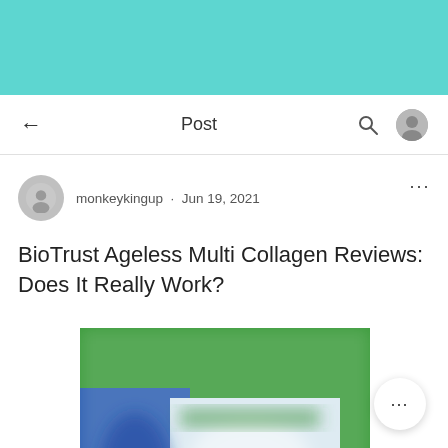[Figure (screenshot): Teal header bar at top of mobile app screen]
Post
monkeykingup · Jun 19, 2021
BioTrust Ageless Multi Collagen Reviews: Does It Really Work?
[Figure (photo): Blurred product image with green, blue, and white colors — appears to be a supplement/collagen product package]